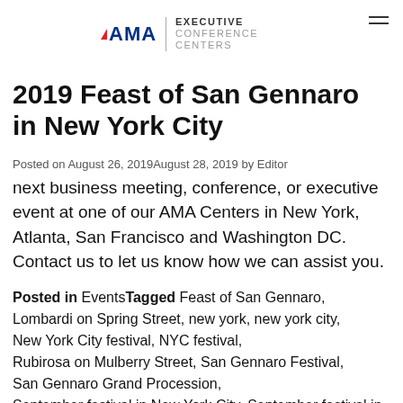[Figure (logo): AMA Executive Conference Centers logo with red triangle, blue AMA text, vertical divider, and gray EXECUTIVE CONFERENCE CENTERS text]
2019 Feast of San Gennaro in New York City
Posted on August 26, 2019August 28, 2019 by Editor
next business meeting, conference, or executive event at one of our AMA Centers in New York, Atlanta, San Francisco and Washington DC. Contact us to let us know how we can assist you.
Posted in Events Tagged Feast of San Gennaro, Lombardi on Spring Street, new york, new york city, New York City festival, NYC festival, Rubirosa on Mulberry Street, San Gennaro Festival, San Gennaro Grand Procession, September festival in New York City, September festival in NYC